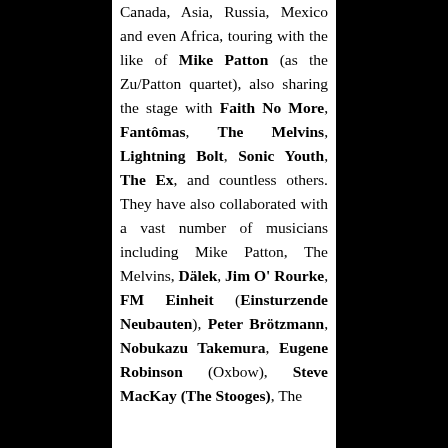Canada, Asia, Russia, Mexico and even Africa, touring with the like of Mike Patton (as the Zu/Patton quartet), also sharing the stage with Faith No More, Fantômas, The Melvins, Lightning Bolt, Sonic Youth, The Ex, and countless others. They have also collaborated with a vast number of musicians including Mike Patton, The Melvins, Dälek, Jim O' Rourke, FM Einheit (Einsturzende Neubauten), Peter Brötzmann, Nobukazu Takemura, Eugene Robinson (Oxbow), Steve MacKay (The Stooges), The